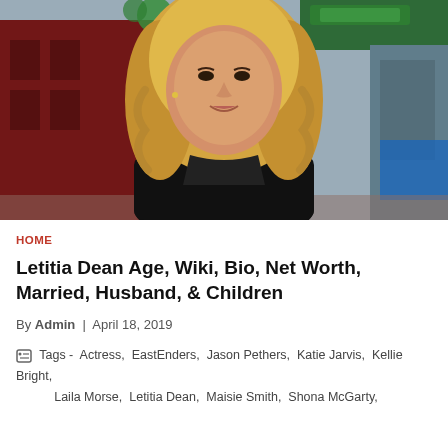[Figure (photo): Blonde woman in black outfit standing in front of a street scene with red brick building background]
HOME
Letitia Dean Age, Wiki, Bio, Net Worth, Married, Husband, & Children
By Admin | April 18, 2019
Tags - Actress, EastEnders, Jason Pethers, Katie Jarvis, Kellie Bright, Laila Morse, Letitia Dean, Maisie Smith, Shona McGarty,